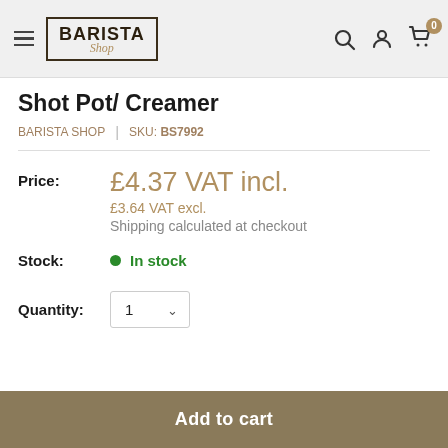Barista Shop — navigation header with logo, search, account, and cart icons
Shot Pot/ Creamer
BARISTA SHOP  |  SKU: BS7992
Price: £4.37 VAT incl. £3.64 VAT excl. Shipping calculated at checkout
Stock: In stock
Quantity: 1
Add to cart